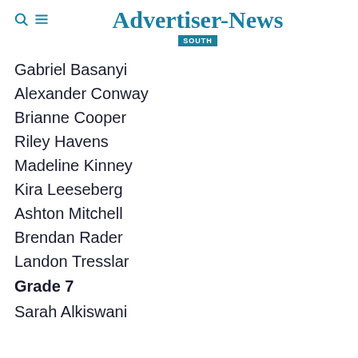Advertiser-News SOUTH
Gabriel Basanyi
Alexander Conway
Brianne Cooper
Riley Havens
Madeline Kinney
Kira Leeseberg
Ashton Mitchell
Brendan Rader
Landon Tresslar
Grade 7
Sarah Alkiswani